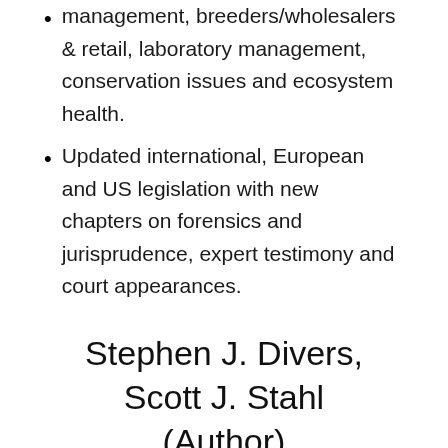management, breeders/wholesalers & retail, laboratory management, conservation issues and ecosystem health.
Updated international, European and US legislation with new chapters on forensics and jurisprudence, expert testimony and court appearances.
Stephen J. Divers, Scott J. Stahl (Author)
Table of Contents
Below is the complete table of contents offered inside Mader's Reptile and Amphibian Medicine and Surgery 3rd Edition PDF: